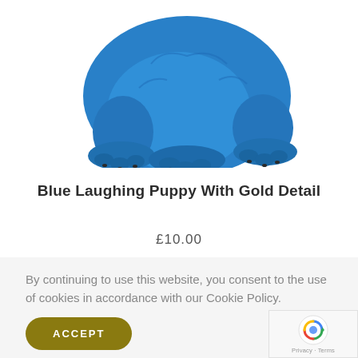[Figure (photo): A blue ceramic/resin laughing puppy figurine with gold nail details, viewed from the front-bottom angle showing paws and lower body against a white background.]
Blue Laughing Puppy With Gold Detail
£10.00
By continuing to use this website, you consent to the use of cookies in accordance with our Cookie Policy.
ACCEPT
[Figure (logo): Google reCAPTCHA badge with spinning arrow logo and Privacy & Terms text]